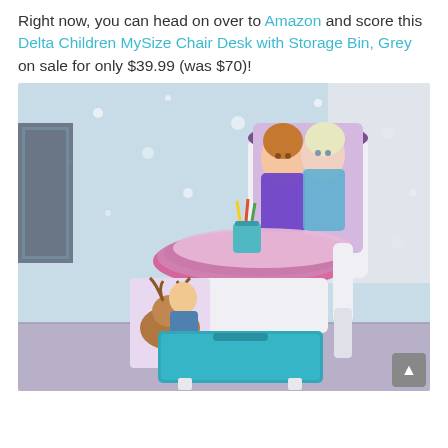Right now, you can head on over to Amazon and score this Delta Children MySize Chair Desk with Storage Bin, Grey on sale for only $39.99 (was $70)!
[Figure (photo): Photo of Delta Children MySize Chair Desk with Storage Bin featuring Disney Frozen (Anna and Elsa) artwork in purple/teal colors, with a teal storage bin underneath, placed in a children's room with snowflake wallpaper.]